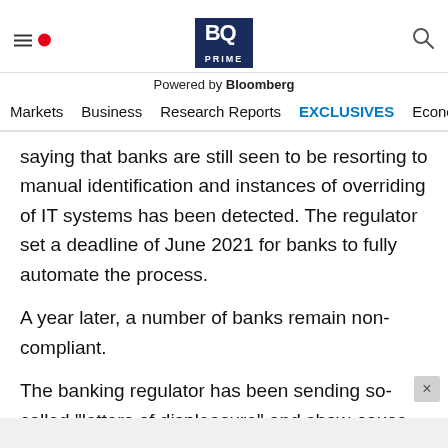[Figure (logo): BQ Prime logo with 'Powered by Bloomberg' tagline and navigation bar]
saying that banks are still seen to be resorting to manual identification and instances of overriding of IT systems has been detected. The regulator set a deadline of June 2021 for banks to fully automate the process.
A year later, a number of banks remain non-compliant.
The banking regulator has been sending so-called "letters of displeasure" and show-cause notices to lenders to speed up the compliance process, said four bankers who have received such communications from the RBI, speaking on